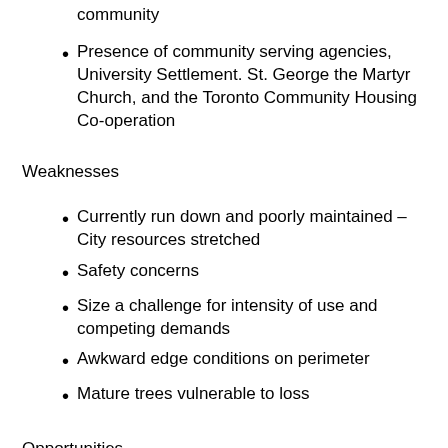community
Presence of community serving agencies, University Settlement. St. George the Martyr Church, and the Toronto Community Housing Co-operation
Weaknesses
Currently run down and poorly maintained – City resources stretched
Safety concerns
Size a challenge for intensity of use and competing demands
Awkward edge conditions on perimeter
Mature trees vulnerable to loss
Opportunities
Unprecedented alliance of the local residents, Art